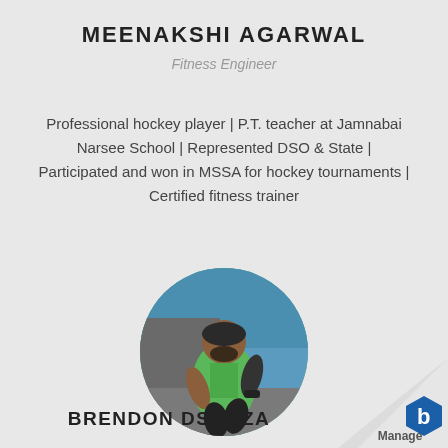MEENAKSHI AGARWAL
Fitness Engineer
Professional hockey player | P.T. teacher at Jamnabai Narsee School | Represented DSO & State | Participated and won in MSSA for hockey tournaments | Certified fitness trainer
[Figure (photo): Circular profile photo of a man running in a green jersey, outdoors]
BRENDON DSOUZA
[Figure (logo): Manage logo with hexagon 'b' icon in bottom right corner with page curl effect]